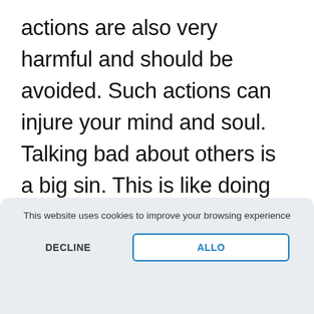actions are also very harmful and should be avoided. Such actions can injure your mind and soul. Talking bad about others is a big sin. This is like doing an absolute reprehensible deed as by doing so you actually become a partner in that person's crime.
This website uses cookies to improve your browsing experience
DECLINE
ALLO